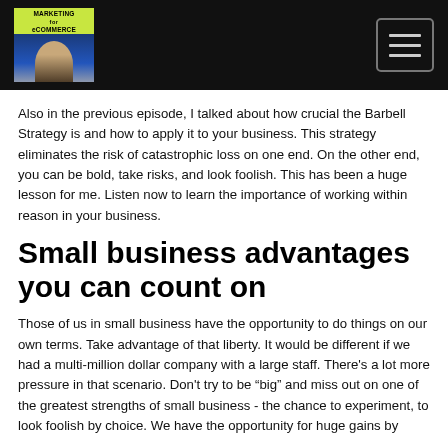Marketing for eCommerce
Also in the previous episode, I talked about how crucial the Barbell Strategy is and how to apply it to your business. This strategy eliminates the risk of catastrophic loss on one end. On the other end, you can be bold, take risks, and look foolish. This has been a huge lesson for me. Listen now to learn the importance of working within reason in your business.
Small business advantages you can count on
Those of us in small business have the opportunity to do things on our own terms. Take advantage of that liberty. It would be different if we had a multi-million dollar company with a large staff. There's a lot more pressure in that scenario. Don't try to be “big” and miss out on one of the greatest strengths of small business - the chance to experiment, to look foolish by choice. We have the opportunity for huge gains by